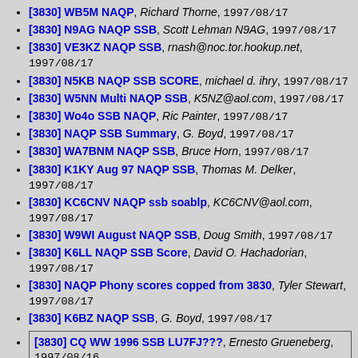[3830] WB5M NAQP, Richard Thorne, 1997/08/17
[3830] N9AG NAQP SSB, Scott Lehman N9AG, 1997/08/17
[3830] VE3KZ NAQP SSB, rnash@noc.tor.hookup.net, 1997/08/17
[3830] N5KB NAQP SSB SCORE, michael d. ihry, 1997/08/17
[3830] W5NN Multi NAQP SSB, K5NZ@aol.com, 1997/08/17
[3830] Wo4o SSB NAQP, Ric Painter, 1997/08/17
[3830] NAQP SSB Summary, G. Boyd, 1997/08/17
[3830] WA7BNM NAQP SSB, Bruce Horn, 1997/08/17
[3830] K1KY Aug 97 NAQP SSB, Thomas M. Delker, 1997/08/17
[3830] KC6CNV NAQP ssb soablp, KC6CNV@aol.com, 1997/08/17
[3830] W9WI August NAQP SSB, Doug Smith, 1997/08/17
[3830] K6LL NAQP SSB Score, David O. Hachadorian, 1997/08/17
[3830] NAQP Phony scores copped from 3830, Tyler Stewart, 1997/08/17
[3830] K6BZ NAQP SSB, G. Boyd, 1997/08/17
[3830] CQ WW 1996 SSB LU7FJ???, Ernesto Grueneberg, 1997/08/16
[3830] CQ WW 1996 SSB LU7FJ???, Ernesto Grueneberg, 1997/08/18